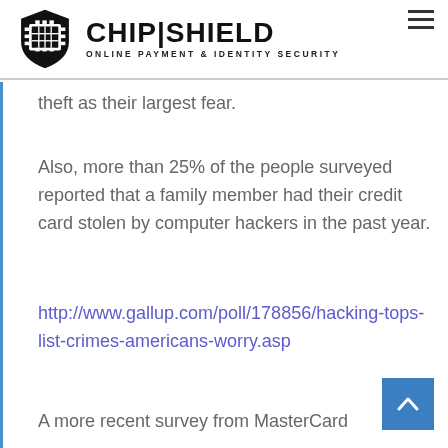CHIP|SHIELD — ONLINE PAYMENT & IDENTITY SECURITY
theft as their largest fear.
Also, more than 25% of the people surveyed reported that a family member had their credit card stolen by computer hackers in the past year.
http://www.gallup.com/poll/178856/hacking-tops-list-crimes-americans-worry.aspx
A more recent survey from MasterCard